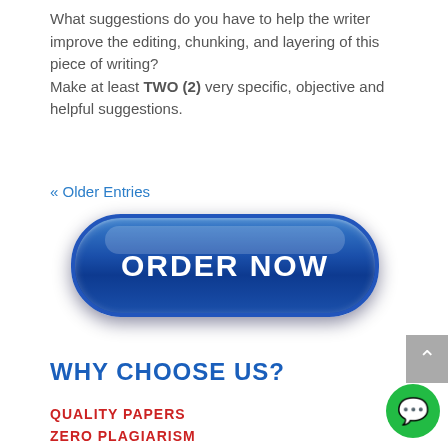What suggestions do you have to help the writer improve the editing, chunking, and layering of this piece of writing?
Make at least TWO (2) very specific, objective and helpful suggestions.
« Older Entries
[Figure (other): Blue glossy pill-shaped ORDER NOW button]
[Figure (other): Gray scroll-to-top button with up arrow]
WHY CHOOSE US?
QUALITY PAPERS
ZERO PLAGIARISM
[Figure (other): Green circle chat bubble icon]